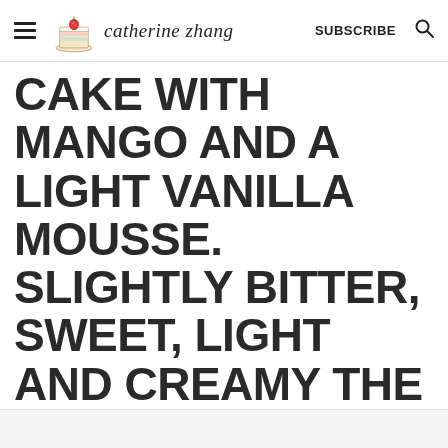catherine zhang — SUBSCRIBE
CAKE WITH MANGO AND A LIGHT VANILLA MOUSSE. SLIGHTLY BITTER, SWEET, LIGHT AND CREAMY THE PERFECT COMBINATION OF TEXTURES AND FLAVOURS!